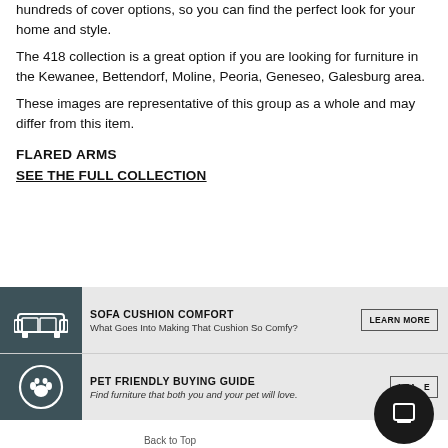hundreds of cover options, so you can find the perfect look for your home and style.
The 418 collection is a great option if you are looking for furniture in the Kewanee, Bettendorf, Moline, Peoria, Geneseo, Galesburg area.
These images are representative of this group as a whole and may differ from this item.
FLARED ARMS
SEE THE FULL COLLECTION
[Figure (infographic): Sofa Cushion Comfort banner with sofa icon, title, subtitle, and Learn More button]
[Figure (infographic): Pet Friendly Buying Guide banner with paw print icon, title, subtitle, and Learn More button]
Back to Top